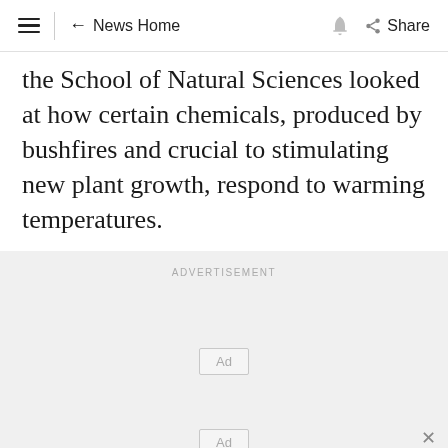News Home  Share
the School of Natural Sciences looked at how certain chemicals, produced by bushfires and crucial to stimulating new plant growth, respond to warming temperatures.
ADVERTISEMENT
Ad
Ad